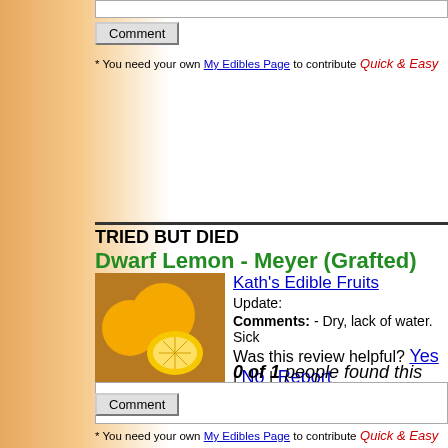[input box]
Comment [button]
* You need your own My Edibles Page to contribute  Quick & Easy
TRIED BUT DIED
Dwarf Lemon - Meyer (Grafted)
Kath's Edible Fruits
Update:
Comments: - Dry, lack of water. Sick
Was this review helpful? Yes | No | Report
0 of 1 people found this review useful
[comment input box]
Comment [button]
* You need your own My Edibles Page to contribute  Quick & Easy